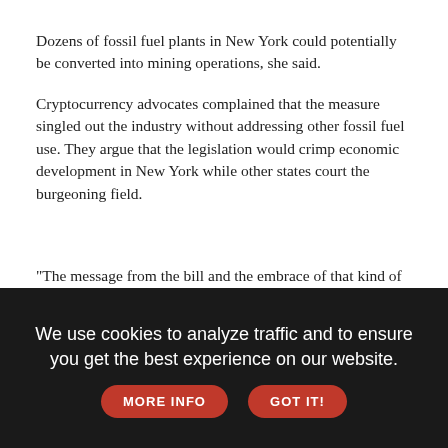Dozens of fossil fuel plants in New York could potentially be converted into mining operations, she said.
Cryptocurrency advocates complained that the measure singled out the industry without addressing other fossil fuel use. They argue that the legislation would crimp economic development in New York while other states court the burgeoning field.
"The message from the bill and the embrace of that kind of policy is not a good one for an industry that really can go anywhere," said John Olsen of The Blockchain Association, an industry group.
We use cookies to analyze traffic and to ensure you get the best experience on our website.